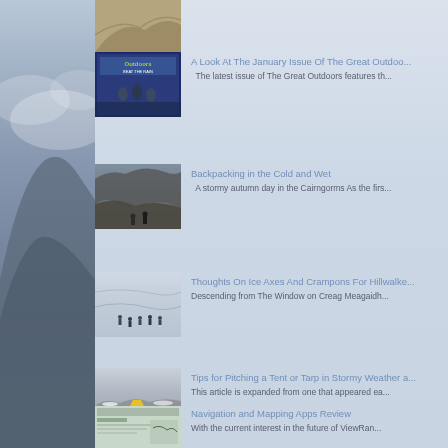[Figure (photo): Thumbnail of a map or outdoor scene, partially visible at top]
A Look At The January Issue Of The Great Outdoors | The latest issue of The Great Outdoors features th...
[Figure (photo): Cover of The Great Outdoors magazine showing hikers in rain gear with text BEAT THE RAIN]
Backpacking in the Cold and Wet | A stormy autumn day in the Cairngorms As the firs...
[Figure (photo): Rocky mountain scene in the Cairngorms with hikers on a grey stormy day]
Thoughts On Ice Axes And Crampons For Hillwalke... | Descending from The Window on Creag Meagaidh...
[Figure (photo): Snowy mountain slope with group of walkers descending, winter scene]
Tips for Pitching a Tent or Tarp in Stormy Weather a... | This article is expanded from one that appeared ea...
[Figure (photo): Rocky mountain terrain in winter with a yellow tent pitched among rocks]
Navigation and Mapping Apps Review | With the current interest in the future of ViewRan...
[Figure (screenshot): Screenshot of a navigation or mapping app interface]